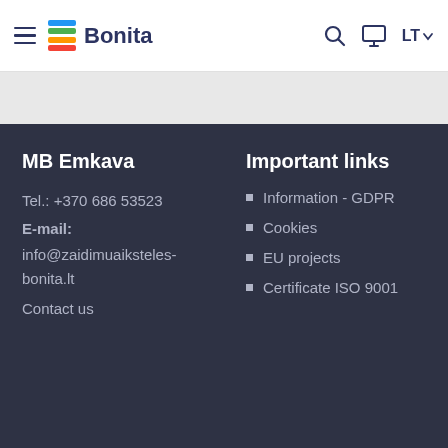Bonita — navigation bar with hamburger menu, logo, search, account, and LT language selector
MB Emkava
Tel.: +370 686 53523
E-mail:
info@zaidimuaiksteles-bonita.lt
Contact us
Important links
Information - GDPR
Cookies
EU projects
Certificate ISO 9001